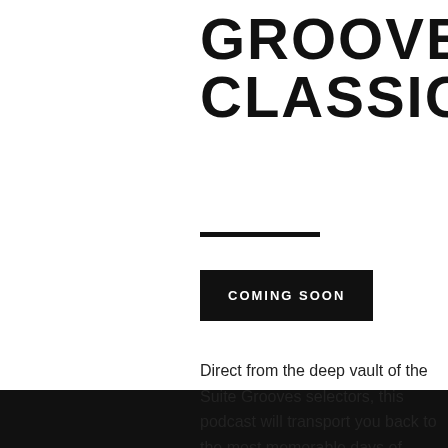GROOVES CLASSICS
COMING SOON
Direct from the deep vault of the Suite Grooves selectors, this podcast will transport you back to the most memorable days of clubbing.